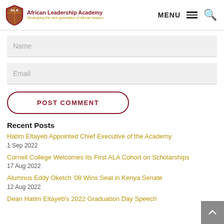[Figure (logo): African Leadership Academy logo with shield emblem and text 'African Leadership Academy – Developing the next generation of African leaders']
Name
Email
POST COMMENT
Recent Posts
Hatim Eltayeb Appointed Chief Executive of the Academy
1 Sep 2022
Cornell College Welcomes Its First ALA Cohort on Scholarships
17 Aug 2022
Alumnus Eddy Oketch '08 Wins Seat in Kenya Senate
12 Aug 2022
Dean Hatim Eltayeb's 2022 Graduation Day Speech